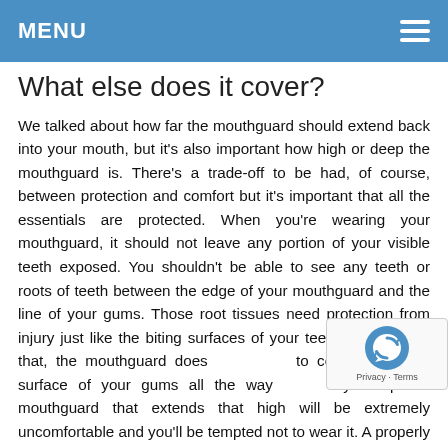MENU
What else does it cover?
We talked about how far the mouthguard should extend back into your mouth, but it's also important how high or deep the mouthguard is. There's a trade-off to be had, of course, between protection and comfort but it's important that all the essentials are protected. When you're wearing your mouthguard, it should not leave any portion of your visible teeth exposed. You shouldn't be able to see any teeth or roots of teeth between the edge of your mouthguard and the line of your gums. Those root tissues need protection from injury just like the biting surfaces of your teeth. Having said that, the mouthguard doesn't need to cover the entire surface of your gums all the way to your lips. A mouthguard that extends that high will be extremely uncomfortable and you'll be tempted not to wear it. A properly fitting mouthguard covers all the surfaces of your teeth and a portion of your gums to keep you safe.
If you don't have a mouthguard or your mouthguard isn't